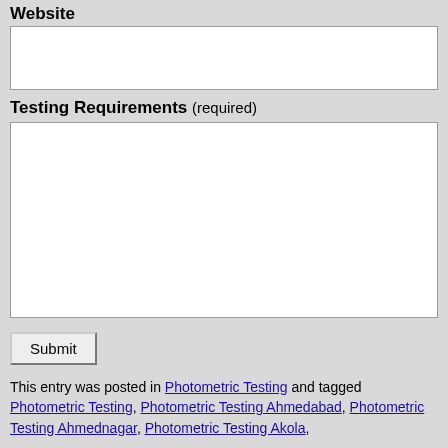Website
[Website input field]
Testing Requirements (required)
[Testing Requirements textarea]
Submit
This entry was posted in Photometric Testing and tagged Photometric Testing, Photometric Testing Ahmedabad, Photometric Testing Ahmednagar, Photometric Testing Akola,